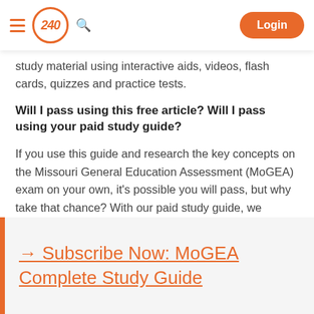240 [logo] Login
study material using interactive aids, videos, flash cards, quizzes and practice tests.
Will I pass using this free article? Will I pass using your paid study guide?
If you use this guide and research the key concepts on the Missouri General Education Assessment (MoGEA) exam on your own, it’s possible you will pass, but why take that chance? With our paid study guide, we guarantee you will pass.
→ Subscribe Now: MoGEA Complete Study Guide